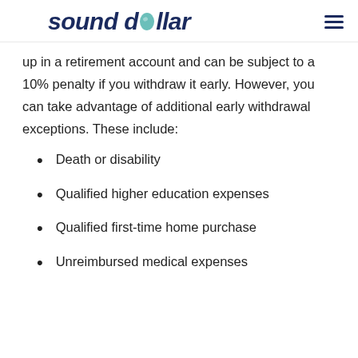sound dollar
up in a retirement account and can be subject to a 10% penalty if you withdraw it early. However, you can take advantage of additional early withdrawal exceptions. These include:
Death or disability
Qualified higher education expenses
Qualified first-time home purchase
Unreimbursed medical expenses